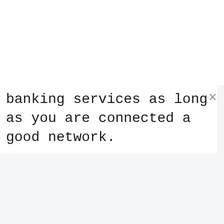banking services as long as you are connected a good network.